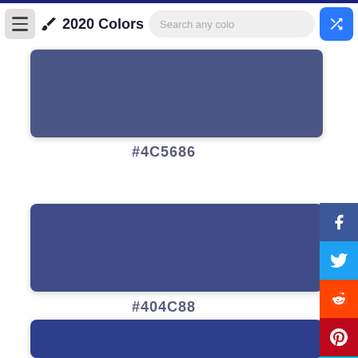2020 Colors
[Figure (other): Color swatch #4C5686 — muted blue-gray color block]
#4C5686
[Figure (other): Color swatch #404C88 — dark blue color block]
#404C88
[Figure (other): Color swatch — darker blue color block (partially visible)]
[Figure (infographic): Social sharing sidebar with Facebook, Twitter, Reddit, Pinterest, and Email icons]